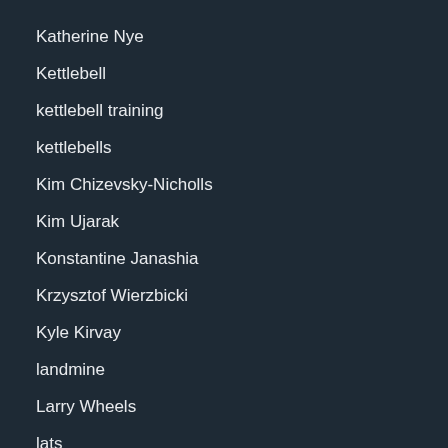Katherine Nye
Kettlebell
kettlebell training
kettlebells
Kim Chizevsky-Nicholls
Kim Ujarak
Konstantine Janashia
Krzysztof Wierzbicki
Kyle Kirvay
landmine
Larry Wheels
lats
leg day